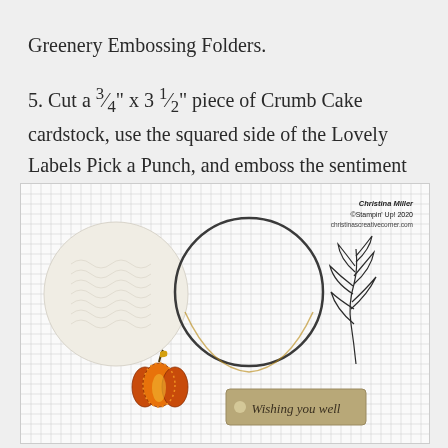Greenery Embossing Folders.
5. Cut a ¾" x 3 ½" piece of Crumb Cake cardstock, use the squared side of the Lovely Labels Pick a Punch, and emboss the sentiment from Gather Together in gold embossing powder.
[Figure (photo): Photo on a white grid background showing crafting supplies: an embossed cream circle, a thin dark ring outline, a leaf sprig stamp image, a small orange pumpkin embellishment, and a tan label reading 'Wishing you well'. Watermark reads: Christina Miller, ©Stampin' Up! 2020, christinascreativecorner.com]